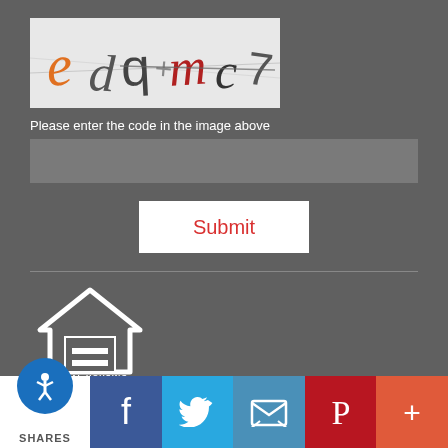[Figure (screenshot): CAPTCHA image showing distorted text characters in orange and dark colors on a light grey background]
Please enter the code in the image above
[Figure (other): Text input field for CAPTCHA entry, grey background]
[Figure (other): Submit button, white background with red text]
[Figure (logo): Equal Housing Opportunity logo - house outline with equals sign inside, text below reads EQUAL HOUSING OPPORTUNITY]
Copyright © First Option Mortgage, Etrafficers, Inc and its licensors. All rights reserved.
Mortgage Websites designed and powered by Etrafficers, Inc.
[Figure (other): Social sharing bar with accessibility icon and SHARES label, Facebook, Twitter, Email, Pinterest, and More buttons]